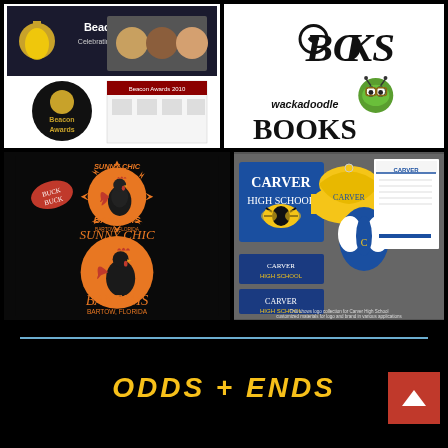[Figure (photo): Beacon Network - Celebrating Workforce Diversity branding collage showing banner with diverse faces and Beacon Awards materials]
[Figure (logo): Books logo and Wackadoodle Books logo with cartoon bookworm bug]
[Figure (logo): Sunny Chic Bantams - Bartow Florida logo designs showing rooster mascot in orange and black]
[Figure (photo): Carver High School branding collage with mascot wasp, yellow beanie, varsity jacket, and letterhead]
ODDS + ENDS